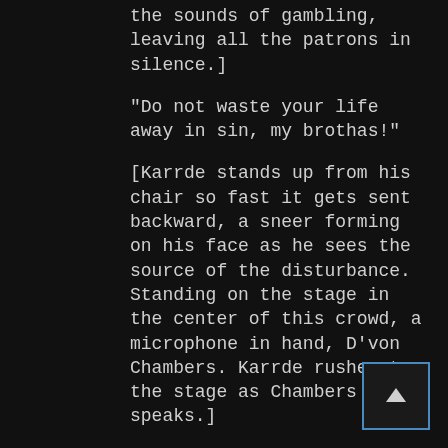the sounds of gambling, leaving all the patrons in silence.]
"Do not waste your life away in sin, my brothas!"
[Karrde stands up from his chair so fast it gets sent backward, a sneer forming on his face as he sees the source of the disturbance. Standing on the stage in the center of this crowd, a microphone in hand, D'von Chambers. Karrde rushes to the stage as Chambers speaks.]
"You place yo bets on the wheels of the devil, and in doing so are betting your eternal souls against the material things of this world. If you stay in these halls, your soul shall forever burn on a pile of the money you so coveted!"
[A crowd forms around Chambers, Karrde